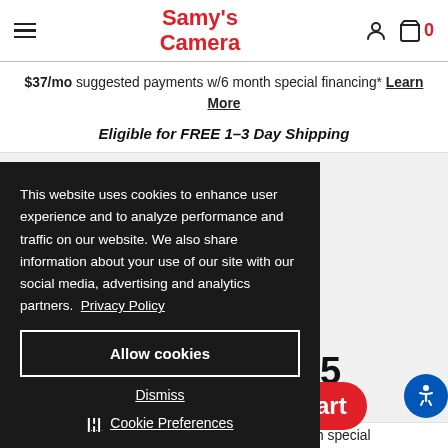Samy's Camera
$37/mo suggested payments w/6 month special financing* Learn More
Eligible for FREE 1-3 Day Shipping
nm f/1.8G ED
This website uses cookies to enhance user experience and to analyze performance and traffic on our website. We also share information about your use of our site with our social media, advertising and analytics partners. Privacy Policy
Allow cookies
Dismiss
Cookie Preferences
5
art
$88/mo suggested payments w/6 month special